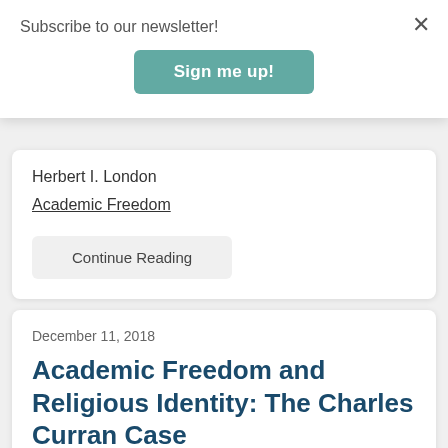Subscribe to our newsletter!
Sign me up!
Herbert I. London
Academic Freedom
Continue Reading
December 11, 2018
Academic Freedom and Religious Identity: The Charles Curran Case